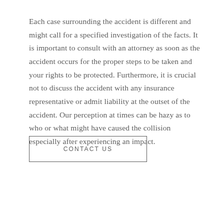Each case surrounding the accident is different and might call for a specified investigation of the facts. It is important to consult with an attorney as soon as the accident occurs for the proper steps to be taken and your rights to be protected. Furthermore, it is crucial not to discuss the accident with any insurance representative or admit liability at the outset of the accident. Our perception at times can be hazy as to who or what might have caused the collision especially after experiencing an impact.
CONTACT US